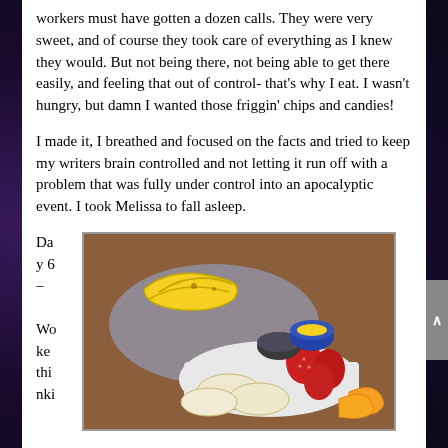workers must have gotten a dozen calls. They were very sweet, and of course they took care of everything as I knew they would. But not being there, not being able to get there easily, and feeling that out of control- that's why I eat. I wasn't hungry, but damn I wanted those friggin' chips and candies!
I made it, I breathed and focused on the facts and tried to keep my writers brain controlled and not letting it run off with a problem that was fully under control into an apocalyptic event. I took Melissa to fall asleep.
Day 6 – Woke thinki
[Figure (photo): A photo of a plate of fruit including bananas, sliced apples, strawberries, and orange segments arranged on a white plate with a small bowl, on a wooden surface with a grey cloth]